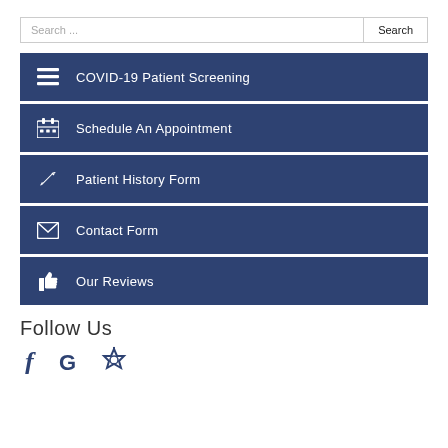Search ...
COVID-19 Patient Screening
Schedule An Appointment
Patient History Form
Contact Form
Our Reviews
Follow Us